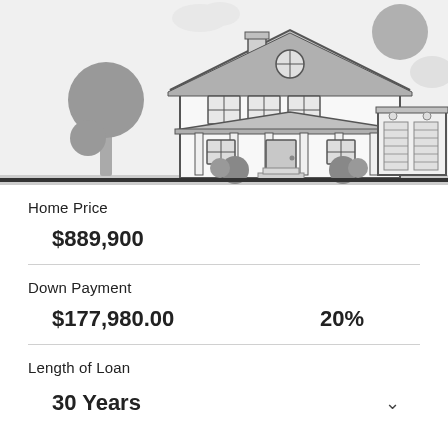[Figure (illustration): Cartoon-style grayscale illustration of a suburban house with a tree on the left, clouds and a sun in the background, and a two-car garage on the right. The house has a pitched roof, chimney, front porch with columns, and multiple windows.]
Home Price
$889,900
Down Payment
$177,980.00
20%
Length of Loan
30 Years